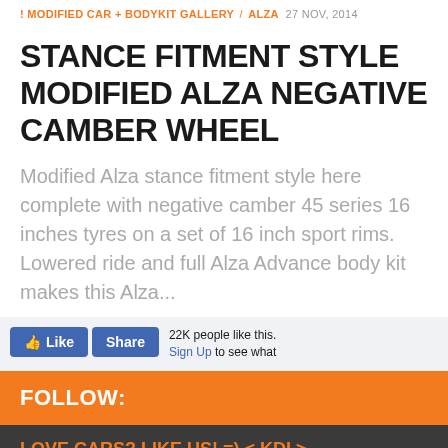MODIFIED CAR + BODYKIT GALLERY / ALZA  27 NOV, 2014
STANCE FITMENT STYLE MODIFIED ALZA NEGATIVE CAMBER WHEEL
Modified Alza stance fitment style here complete with negative camber 45 series 16 inches tyres on a set of 16 inch sport rims. Lowered ride and full Alza Advance body kit makes this Alza...
[Figure (other): Facebook Like and Share widget showing 22K people like this with Sign Up link]
FOLLOW:
LOVE CARS? LIKE US! =) < KDI >
We love to publish modified car pics, car specs and do some short reviews..